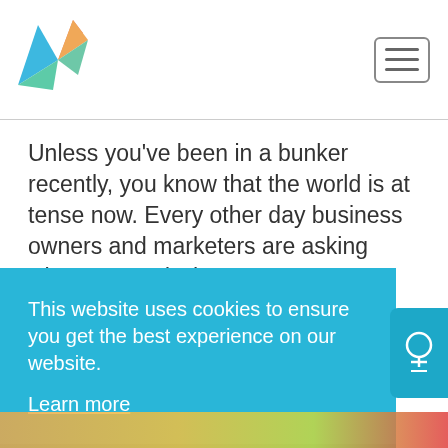[Figure (logo): Origami bird logo in blue, teal, and orange/pink colors]
[Figure (screenshot): Hamburger menu icon with three horizontal lines inside a rounded rectangle border]
Unless you’ve been in a bunker recently, you know that the world is at tense now. Every other day business owners and marketers are asking what now and what’s next.
This website uses cookies to ensure you get the best experience on our website.
Learn more
Got it!